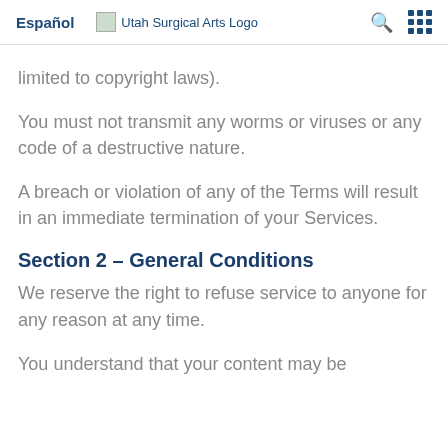Español  Utah Surgical Arts Logo  [search] [grid]
limited to copyright laws).
You must not transmit any worms or viruses or any code of a destructive nature.
A breach or violation of any of the Terms will result in an immediate termination of your Services.
Section 2 – General Conditions
We reserve the right to refuse service to anyone for any reason at any time.
You understand that your content may be